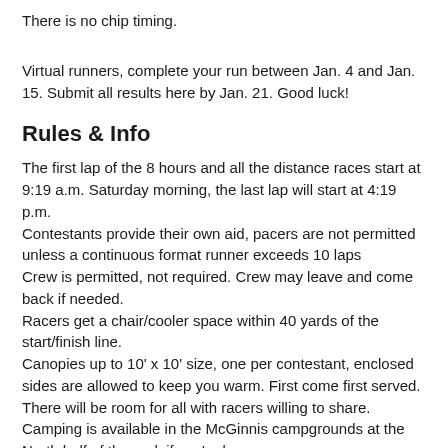There is no chip timing.
Virtual runners, complete your run between Jan. 4 and Jan. 15. Submit all results here by Jan. 21. Good luck!
Rules & Info
The first lap of the 8 hours and all the distance races start at 9:19 a.m. Saturday morning, the last lap will start at 4:19 p.m.
Contestants provide their own aid, pacers are not permitted unless a continuous format runner exceeds 10 laps
Crew is permitted, not required. Crew may leave and come back if needed.
Racers get a chair/cooler space within 40 yards of the start/finish line.
Canopies up to 10' x 10' size, one per contestant, enclosed sides are allowed to keep you warm. First come first served. There will be room for all with racers willing to share. Camping is available in the McGinnis campgrounds at the North half of the park if you're brave.
Alcohol is permitted.
Glass containers are prohibited.
Water is provided.
Coffee & Hot Soup is provided.